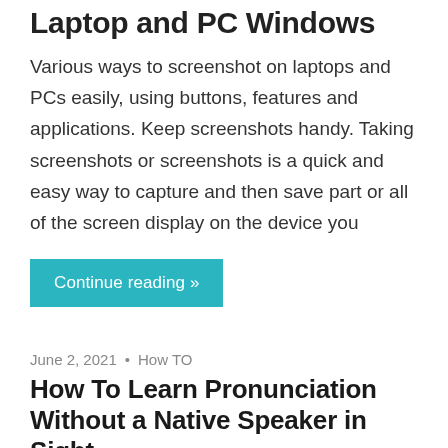Laptop and PC Windows
Various ways to screenshot on laptops and PCs easily, using buttons, features and applications. Keep screenshots handy. Taking screenshots or screenshots is a quick and easy way to capture and then save part or all of the screen display on the device you
Continue reading »
June 2, 2021  •  How TO
How To Learn Pronunciation Without a Native Speaker in Sight
How many times have you heard the phrase- 'Kids do a better job at learning new languages?' Strike